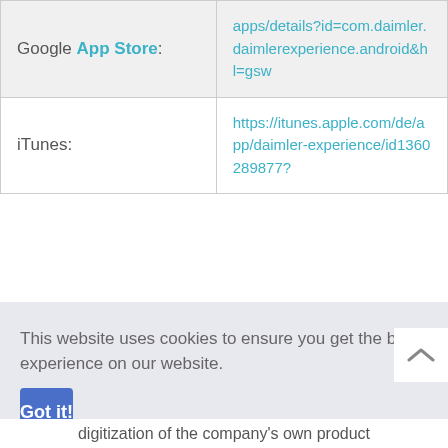| Label | URL |
| --- | --- |
| Google App Store: | apps/details?id=com.daimler.daimlerexperience.android&hl=gsw |
| iTunes: | https://itunes.apple.com/de/app/daimler-experience/id1360289877? |
This website uses cookies to ensure you get the best experience on our website.
Got it!
digitization of the company's own product